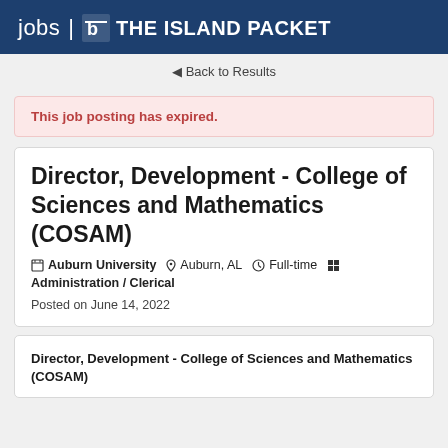jobs | THE ISLAND PACKET
◄ Back to Results
This job posting has expired.
Director, Development - College of Sciences and Mathematics (COSAM)
Auburn University  Auburn, AL  Full-time  Administration / Clerical
Posted on June 14, 2022
Director, Development - College of Sciences and Mathematics (COSAM)